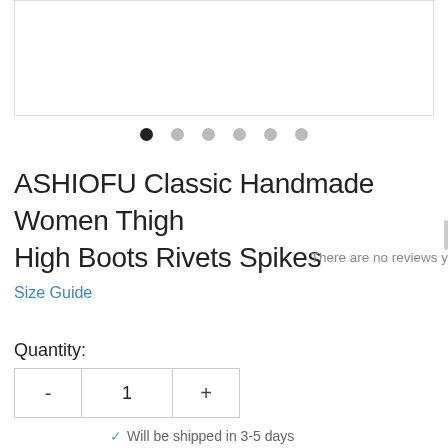[Figure (photo): Product image area (partially visible, white/light background)]
ASHIOFU Classic Handmade Women Thigh High Boots Rivets Spikes
There are no reviews y
Size Guide
Quantity:
Will be shipped in 3-5 days